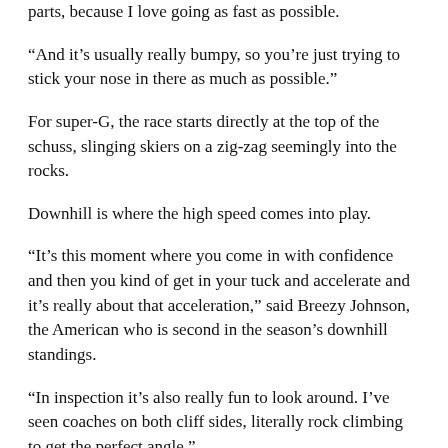parts, because I love going as fast as possible.
“And it’s usually really bumpy, so you’re just trying to stick your nose in there as much as possible.”
For super-G, the race starts directly at the top of the schuss, slinging skiers on a zig-zag seemingly into the rocks.
Downhill is where the high speed comes into play.
“It’s this moment where you come in with confidence and then you kind of get in your tuck and accelerate and it’s really about that acceleration,” said Breezy Johnson, the American who is second in the season’s downhill standings.
“In inspection it’s also really fun to look around. I’ve seen coaches on both cliff sides, literally rock climbing to get the perfect angle.”
Organizers perform wonders just to get the safety